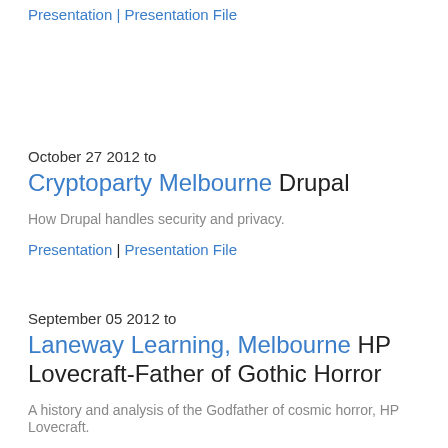Presentation | Presentation File
October 27 2012 to
Cryptoparty Melbourne Drupal
How Drupal handles security and privacy.
Presentation | Presentation File
September 05 2012 to
Laneway Learning, Melbourne HP Lovecraft-Father of Gothic Horror
A history and analysis of the Godfather of cosmic horror, HP Lovecraft.